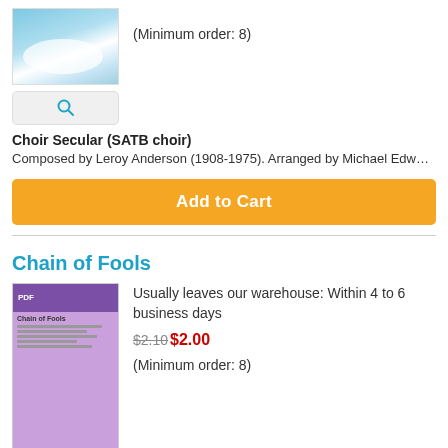[Figure (photo): Product image showing sky/clouds background]
(Minimum order: 8)
[Figure (other): Search magnifying glass button]
Choir Secular (SATB choir)
Composed by Leroy Anderson (1908-1975). Arranged by Michael Edwards. Performance Music Ensemble; Single Titles. Christmas; Secular; Winter. Choral
Add to Cart
Chain of Fools
[Figure (photo): Product image showing Chain of Fools sheet music cover with purple background and CDs]
Usually leaves our warehouse: Within 4 to 6 business days
$2.10$2.00
(Minimum order: 8)
[Figure (other): Search magnifying glass icon button]
[Figure (other): Audio/speaker icon button]
Choir Secular (Women's Choir)